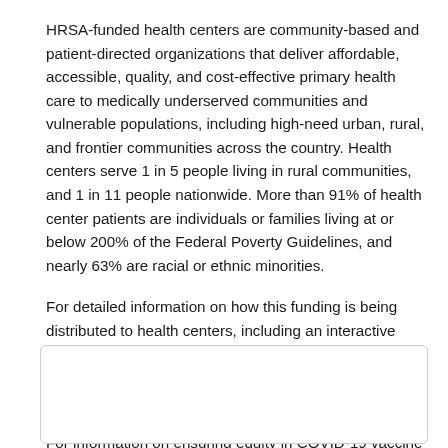HRSA-funded health centers are community-based and patient-directed organizations that deliver affordable, accessible, quality, and cost-effective primary health care to medically underserved communities and vulnerable populations, including high-need urban, rural, and frontier communities across the country. Health centers serve 1 in 5 people living in rural communities, and 1 in 11 people nationwide. More than 91% of health center patients are individuals or families living at or below 200% of the Federal Poverty Guidelines, and nearly 63% are racial or ethnic minorities.
For detailed information on how this funding is being distributed to health centers, including an interactive map of which health centers will receive funding, please visit: https://bphc.hrsa.gov/program-opportunities/american-rescue-plan/awards.
For information on ensuring equity in COVID-19 vaccine distribution, visit: https://www.hrsa.gov/coronavirus/health-center-program
[Figure (other): Empty rounded rectangle box at the bottom of the page]